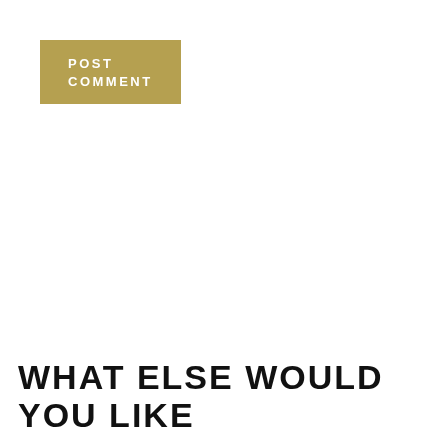[Figure (screenshot): A gold/tan rectangular button with white bold uppercase text reading POST COMMENT]
[Figure (screenshot): A search bar with light grey background showing placeholder text Search... and a dark navy blue search button with magnifying glass icon on the right]
WHAT ELSE WOULD YOU LIKE